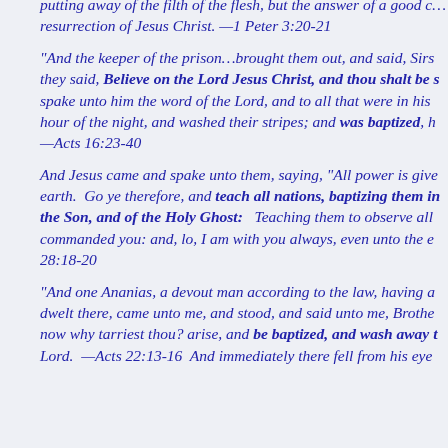putting away of the filth of the flesh, but the answer of a good conscience toward God,) by the resurrection of Jesus Christ. —1 Peter 3:20-21
"And the keeper of the prison…brought them out, and said, Sirs, what must I do to be saved? And they said, Believe on the Lord Jesus Christ, and thou shalt be saved, and thy house. And they spake unto him the word of the Lord, and to all that were in his house. And he took them the same hour of the night, and washed their stripes; and was baptized, he and all his, straightway. —Acts 16:23-40
And Jesus came and spake unto them, saying, "All power is given unto me in heaven and in earth. Go ye therefore, and teach all nations, baptizing them in the name of the Father, and of the Son, and of the Holy Ghost: Teaching them to observe all things whatsoever I have commanded you: and, lo, I am with you always, even unto the end of the world. —Matthew 28:18-20
"And one Ananias, a devout man according to the law, having a good report of all the Jews which dwelt there, came unto me, and stood, and said unto me, Brother Saul, receive thy sight. And the same hour I looked up upon him. And he said, The God of our fathers hath chosen thee, that thou shouldest know his will, and see that Just One, and shouldest hear the voice of his mouth. For thou shalt be his witness unto all men of what thou hast seen and heard. And now why tarriest thou? arise, and be baptized, and wash away thy sins, calling on the name of the Lord. —Acts 22:13-16 And immediately there fell from his eyes as it had been scales: and he received sight forthwith, and arose, and was baptized: